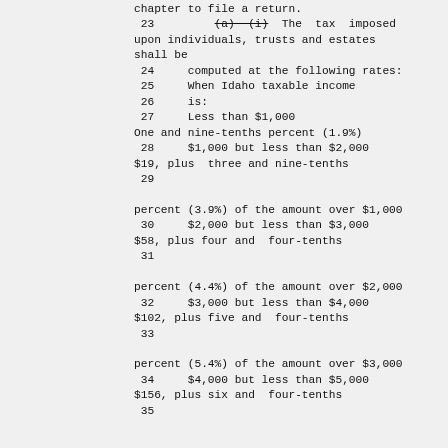chapter to file a return.
 23         (a) (i)  The  tax  imposed
upon individuals, trusts and estates
shall be
 24     computed at the following rates:
 25     When Idaho taxable income
 26     is:
 27     Less than $1,000
One and nine-tenths percent (1.9%)
 28     $1,000 but less than $2,000
$19, plus  three and nine-tenths
 29

percent (3.9%) of the amount over $1,000
 30     $2,000 but less than $3,000
$58, plus four and  four-tenths
 31

percent (4.4%) of the amount over $2,000
 32     $3,000 but less than $4,000
$102, plus five and  four-tenths
 33

percent (5.4%) of the amount over $3,000
 34     $4,000 but less than $5,000
$156, plus six and  four-tenths
 35